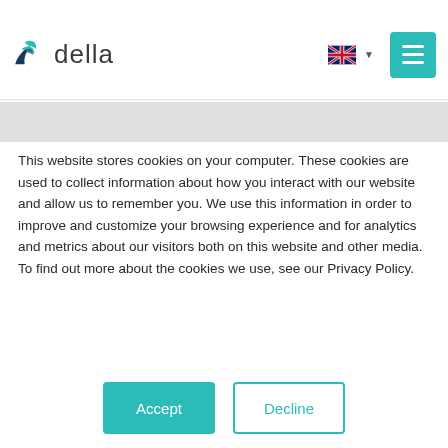[Figure (logo): Della logo with teal bird icon and 'della' wordmark]
This website stores cookies on your computer. These cookies are used to collect information about how you interact with our website and allow us to remember you. We use this information in order to improve and customize your browsing experience and for analytics and metrics about our visitors both on this website and other media. To find out more about the cookies we use, see our Privacy Policy.
If you decline, your information won't be tracked when you visit this website. A single cookie will be used in your browser to remember your preference not to be tracked.